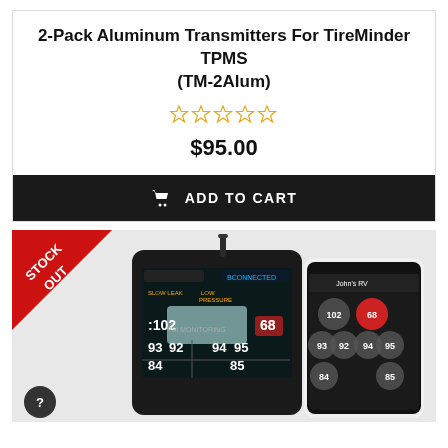2-Pack Aluminum Transmitters For TireMinder TPMS (TM-2Alum)
☆☆☆☆☆
$95.00
ADD TO CART
[Figure (photo): Product photo showing TireMinder TPMS monitor device and smartphone app displaying tire pressure readings (102, 68, 93, 92, 94, 95, 84, 85 PSI). A red corner badge reads STOCK OUT.]